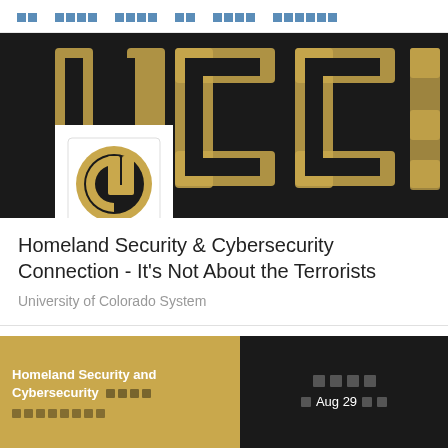□□   □□□□   □□□□   □□   □□□□   □□□□□□
[Figure (photo): UCCS banner image with large gold and black UCCS letters on dark background, with University of Colorado logo overlay in white box]
Homeland Security & Cybersecurity Connection - It's Not About the Terrorists
University of Colorado System
Homeland Security and Cybersecurity □□□□ □□□□□□□□
□□□□ □ Aug 29 □□